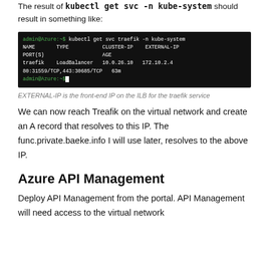The result of kubectl get svc -n kube-system should result in something like:
[Figure (screenshot): Terminal screenshot showing kubectl get svc traefik -n kube-system command output. Shows traefik LoadBalancer with CLUSTER-IP 10.0.26.10, EXTERNAL-IP 172.10.2.4, PORT(S) 80:31559/TCP,443:30685/TCP, AGE 63m]
EXTERNAL-IP is the front-end IP on the ILB for the traefik service
We can now reach Treafik on the virtual network and create an A record that resolves to this IP. The func.private.baeke.info I will use later, resolves to the above IP.
Azure API Management
Deploy API Management from the portal. API Management will need access to the virtual network